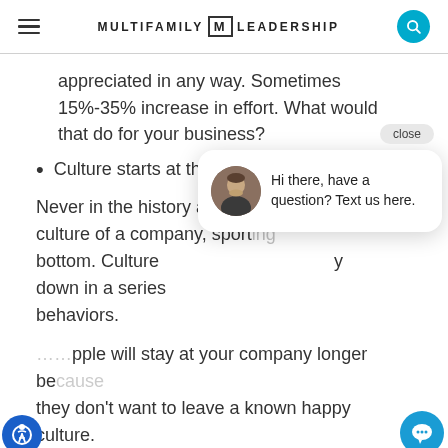MULTIFAMILY M LEADERSHIP
appreciated in any way. Sometimes 15%-35% increase in effort. What would that do for your business?
Culture starts at the top.
Never in the history as ever, has the culture of a company, sport[ing team], etc. started at the bottom. Culture [...] only flows one way — top down in a series [...] behaviors.
...pple will stay at your company longer be[cause] they don't want to leave a known happy culture.
[Figure (screenshot): Chat popup overlay with close button, avatar photo of a man, and text: 'Hi there, have a question? Text us here.']